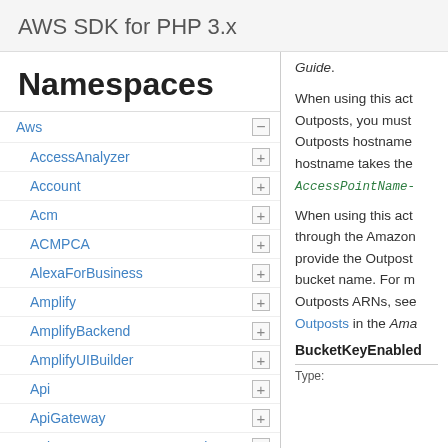AWS SDK for PHP 3.x
Namespaces
Aws
AccessAnalyzer
Account
Acm
ACMPCA
AlexaForBusiness
Amplify
AmplifyBackend
AmplifyUIBuilder
Api
ApiGateway
ApiGatewayManagementApi
Guide.
When using this act Outposts, you must Outposts hostname hostname takes the AccessPointName- When using this act through the Amazon provide the Outpost bucket name. For m Outposts ARNs, see Outposts in the Ama
BucketKeyEnabled